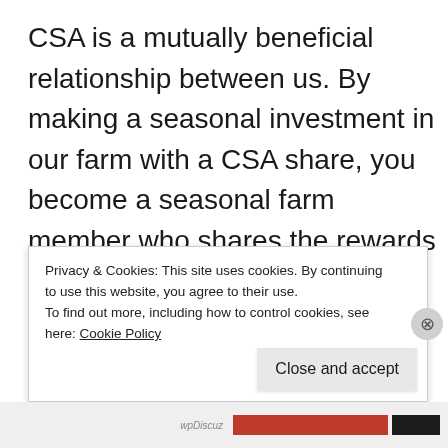CSA is a mutually beneficial relationship between us. By making a seasonal investment in our farm with a CSA share, you become a seasonal farm member who shares the rewards and risks of the harvest season with us, your farmers. Your investment allows us to afford annual start-up costs, to pay ourselves fair wages, and to share the many risks in growing f... w... e...
Privacy & Cookies: This site uses cookies. By continuing to use this website, you agree to their use.
To find out more, including how to control cookies, see here: Cookie Policy
Close and accept